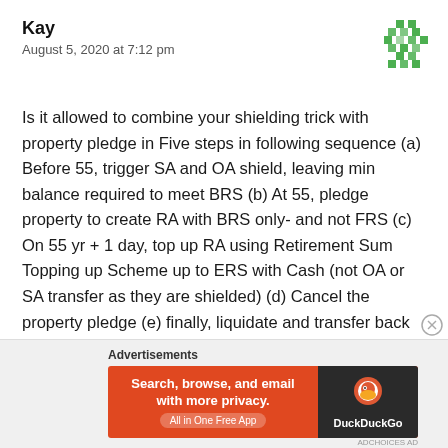Kay
August 5, 2020 at 7:12 pm
[Figure (illustration): Green pixel/mosaic avatar icon]
Is it allowed to combine your shielding trick with property pledge in Five steps in following sequence (a) Before 55, trigger SA and OA shield, leaving min balance required to meet BRS (b) At 55, pledge property to create RA with BRS only- and not FRS (c) On 55 yr + 1 day, top up RA using Retirement Sum Topping up Scheme up to ERS with Cash (not OA or SA transfer as they are shielded) (d) Cancel the property pledge (e) finally, liquidate and transfer back investment to OA & SA.
Advertisements
[Figure (screenshot): DuckDuckGo advertisement banner: orange background with text 'Search, browse, and email with more privacy. All in One Free App' and DuckDuckGo logo on dark background]